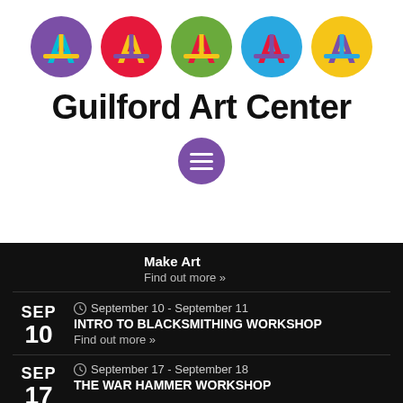[Figure (logo): Five colorful circular logos for Guilford Art Center, each circle a different color (purple, red, green, blue, yellow) with a stylized letter A inside]
Guilford Art Center
[Figure (other): Purple circular menu/hamburger button icon with three white horizontal lines]
Make Art
Find out more »
SEP 10  September 10 - September 11
INTRO TO BLACKSMITHING WORKSHOP
Find out more »
SEP 17  September 17 - September 18
THE WAR HAMMER WORKSHOP